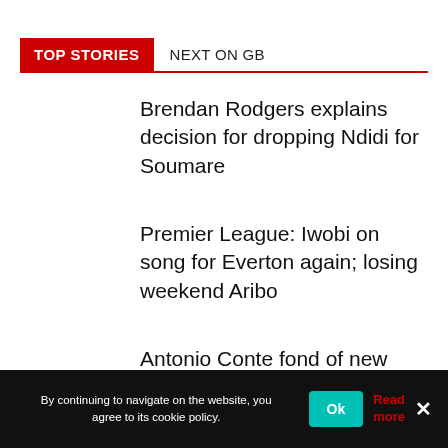TOP STORIES   NEXT ON GB
Brendan Rodgers explains decision for dropping Ndidi for Soumare
Premier League: Iwobi on song for Everton again; losing weekend Aribo
Antonio Conte fond of new Tottenham signing Udogie
By continuing to navigate on the website, you agree to its cookie policy.   Ok   Read more   ×